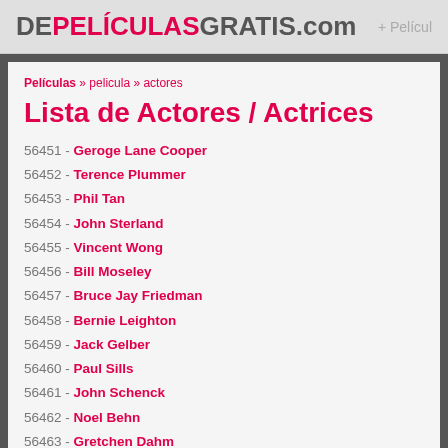DEPELÍCULASGRATIS.com  + Peliculas
Películas » pelicula » actores
Lista de Actores / Actrices
56451 - Geroge Lane Cooper
56452 - Terence Plummer
56453 - Phil Tan
56454 - John Sterland
56455 - Vincent Wong
56456 - Bill Moseley
56457 - Bruce Jay Friedman
56458 - Bernie Leighton
56459 - Jack Gelber
56460 - Paul Sills
56461 - John Schenck
56462 - Noel Behn
56463 - Gretchen Dahm